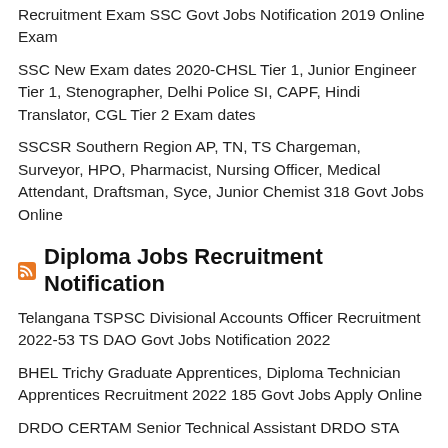Recruitment Exam SSC Govt Jobs Notification 2019 Online Exam
SSC New Exam dates 2020-CHSL Tier 1, Junior Engineer Tier 1, Stenographer, Delhi Police SI, CAPF, Hindi Translator, CGL Tier 2 Exam dates
SSCSR Southern Region AP, TN, TS Chargeman, Surveyor, HPO, Pharmacist, Nursing Officer, Medical Attendant, Draftsman, Syce, Junior Chemist 318 Govt Jobs Online
Diploma Jobs Recruitment Notification
Telangana TSPSC Divisional Accounts Officer Recruitment 2022-53 TS DAO Govt Jobs Notification 2022
BHEL Trichy Graduate Apprentices, Diploma Technician Apprentices Recruitment 2022 185 Govt Jobs Apply Online
DRDO CERTAM Senior Technical Assistant DRDO STA